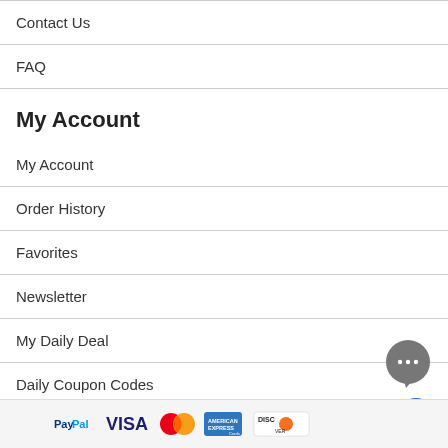Contact Us
FAQ
My Account
My Account
Order History
Favorites
Newsletter
My Daily Deal
Daily Coupon Codes
[Figure (logo): Payment method logos: PayPal, VISA, MasterCard, American Express, Discover]